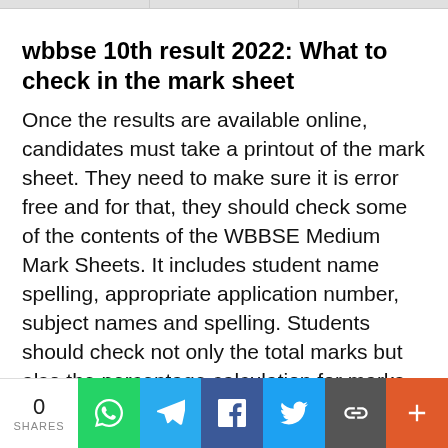wbbse 10th result 2022: What to check in the mark sheet
Once the results are available online, candidates must take a printout of the mark sheet. They need to make sure it is error free and for that, they should check some of the contents of the WBBSE Medium Mark Sheets. It includes student name spelling, appropriate application number, subject names and spelling. Students should check not only the total marks but also the percentage calculation for marks by subjects. Furthermore, they should check the pass / file status. Students also get grades